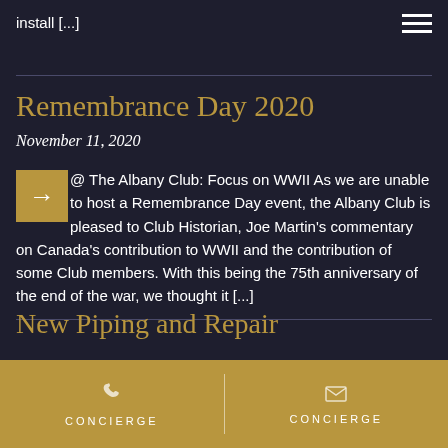install [...]
Remembrance Day 2020
November 11, 2020
@ The Albany Club: Focus on WWII As we are unable to host a Remembrance Day event, the Albany Club is pleased to [share] Club Historian, Joe Martin's commentary on Canada's contribution to WWII and the contribution of some Club members. With this being the 75th anniversary of the end of the war, we thought it [...]
New Piping and Repair
CONCIERGE  CONCIERGE